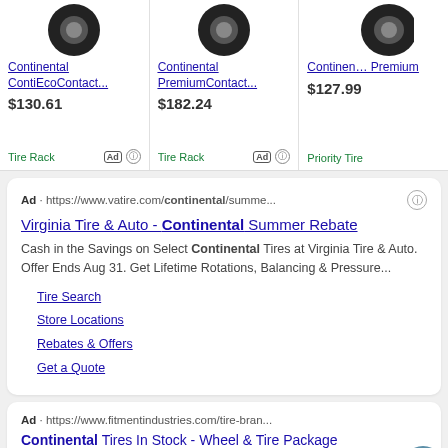[Figure (screenshot): Shopping product cards showing Continental tire products with prices. Three cards: Continental ContiEcoContact... $130.61 Tire Rack (Ad), Continental PremiumContact... $182.24 Tire Rack (Ad), Contin... Premium $127.99 Priority Tire]
Continental ContiEcoContact...
$130.61
Tire Rack
Continental PremiumContact...
$182.24
Tire Rack
Contin... Premium
$127.99
Priority Tire
Ad · https://www.vatire.com/continental/summe...
Virginia Tire & Auto - Continental Summer Rebate
Cash in the Savings on Select Continental Tires at Virginia Tire & Auto. Offer Ends Aug 31. Get Lifetime Rotations, Balancing & Pressure...
Tire Search
Store Locations
Rebates & Offers
Get a Quote
Ad · https://www.fitmentindustries.com/tire-bran...
Continental Tires In Stock - Wheel & Tire Package